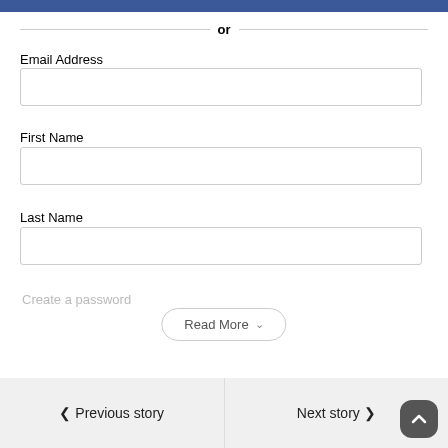[Figure (screenshot): Blue button bar at top of page (partial, cropped)]
or
Email Address
[Figure (other): Empty email address input field with a small key/lock icon on the right]
First Name
[Figure (other): Empty first name input field]
Last Name
[Figure (other): Empty last name input field]
Create a password
Read More
Previous story
Next story